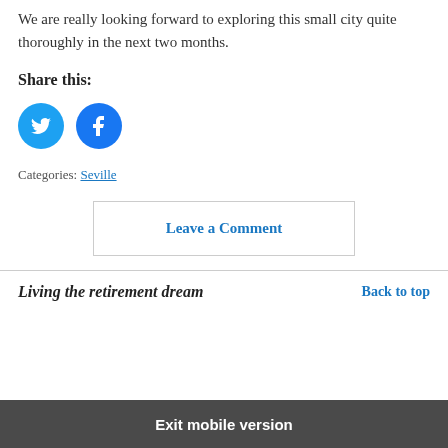We are really looking forward to exploring this small city quite thoroughly in the next two months.
Share this:
[Figure (other): Twitter and Facebook social share icon buttons (blue circles with bird and f icons)]
Categories: Seville
Leave a Comment
Living the retirement dream
Exit mobile version